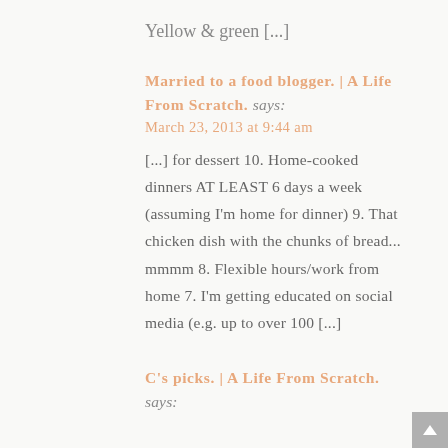Yellow & green [...]
Married to a food blogger. | A Life From Scratch. says:
March 23, 2013 at 9:44 am
[...] for dessert 10. Home-cooked dinners AT LEAST 6 days a week (assuming I'm home for dinner) 9. That chicken dish with the chunks of bread... mmmm 8. Flexible hours/work from home 7. I'm getting educated on social media (e.g. up to over 100 [...]
C's picks. | A Life From Scratch. says: